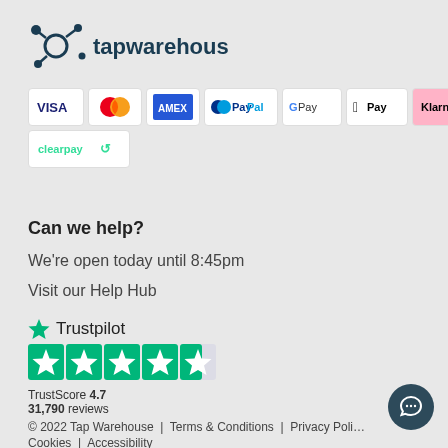[Figure (logo): Tapwarehouse logo with circular molecule icon and text 'tapwarehouse' in dark teal]
[Figure (infographic): Payment method badges: Visa, Mastercard, American Express, PayPal, Google Pay, Apple Pay, Klarna, Clearpay]
Can we help?
We're open today until 8:45pm
Visit our Help Hub
[Figure (logo): Trustpilot logo with green star and text 'Trustpilot', followed by 4.5 green star rating badges, TrustScore 4.7, 31,790 reviews]
© 2022 Tap Warehouse  |  Terms & Conditions  |  Privacy Poli…
Cookies  |  Accessibility